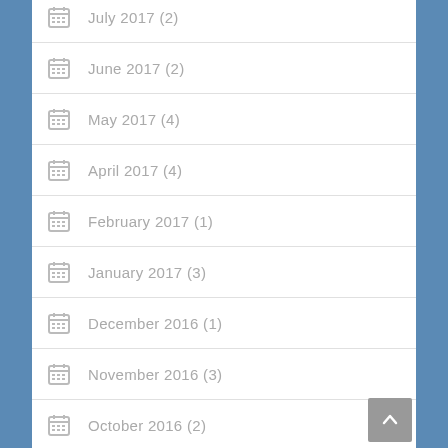July 2017 (2)
June 2017 (2)
May 2017 (4)
April 2017 (4)
February 2017 (1)
January 2017 (3)
December 2016 (1)
November 2016 (3)
October 2016 (2)
September 2016 (2)
August 2016 (2)
July 2016 (5)